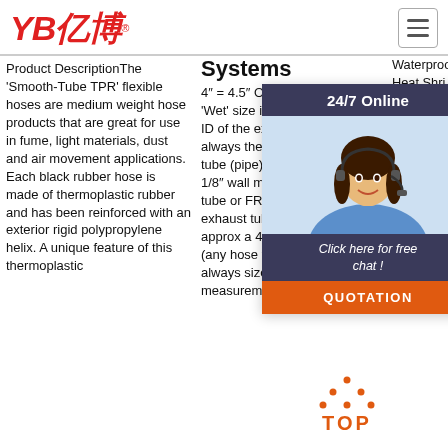YB亿博® [logo] [hamburger menu]
Product DescriptionThe 'Smooth-Tube TPR' flexible hoses are medium weight hose products that are great for use in fume, light materials, dust and air movement applications. Each black rubber hose is made of thermoplastic rubber and has been reinforced with an exterior rigid polypropylene helix. A unique feature of this thermoplastic
Systems
4" = 4.5" OD. 6" = 6 5/8" OD. 'Wet' size is always the actual ID of the exhaust hose. Tube is always the actual OD of the tube (pipe) and is usually about 1/8" wall meaning a 5" WET tube or FRP (fiberglass) exhaust tube or pipe has approx a 4 ¾' ID. Exhaust hose (any hose for that matter) is always sized as an ID measurement ...
Waterproof Heat Shri... Ma... Ca... Lin... Ins... Ag... Co... Le...
[Figure (other): 24/7 Online chat widget with customer service representative photo, 'Click here for free chat!' link, and orange QUOTATION button]
[Figure (other): Orange TOP button with dotted triangle/arrow icon pointing upward]